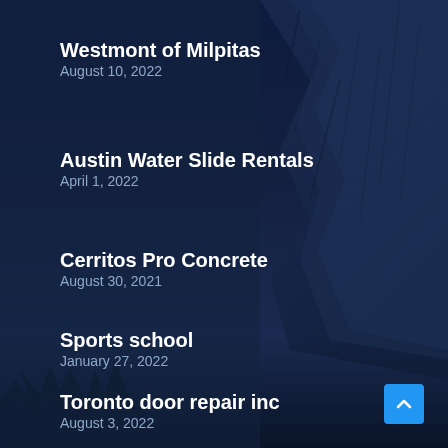Westmont of Milpitas
August 10, 2022
Austin Water Slide Rentals
April 1, 2022
Cerritos Pro Concrete
August 30, 2021
Sports school
January 27, 2022
Toronto door repair inc
August 3, 2022